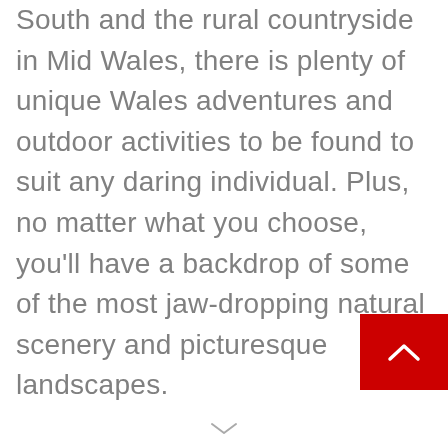South and the rural countryside in Mid Wales, there is plenty of unique Wales adventures and outdoor activities to be found to suit any daring individual. Plus, no matter what you choose, you'll have a backdrop of some of the most jaw-dropping natural scenery and picturesque landscapes.
[Figure (other): Red square button with white upward chevron arrow in bottom-right corner]